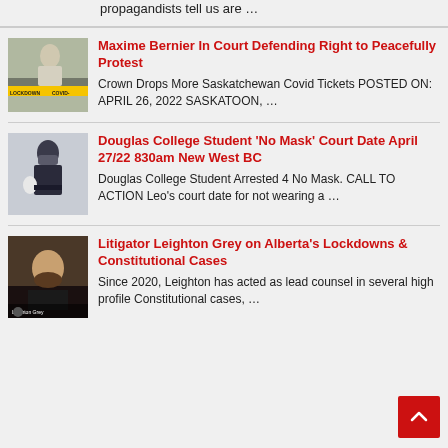propagandists tell us are …
[Figure (photo): Man outdoors with lockdown tape in background]
Maxime Bernier In Court Defending Right to Peacefully Protest
Crown Drops More Saskatchewan Covid Tickets POSTED ON: APRIL 26, 2022 SASKATOON, …
[Figure (photo): Police officer with mask]
Douglas College Student 'No Mask' Court Date April 27/22 830am New West BC
Douglas College Student Arrested 4 No Mask. CALL TO ACTION Leo's court date for not wearing a …
[Figure (photo): Leighton Grey video thumbnail]
Litigator Leighton Grey on Alberta's Lockdowns & Constitutional Cases
Since 2020, Leighton has acted as lead counsel in several high profile Constitutional cases, …